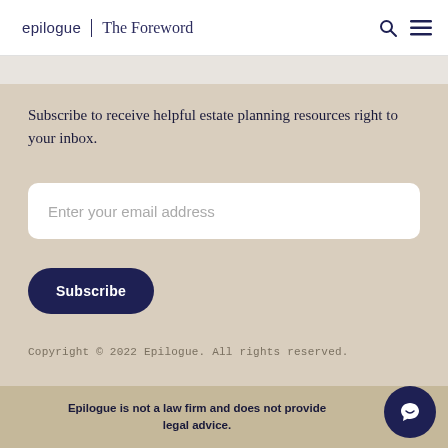epilogue | The Foreword
Subscribe to receive helpful estate planning resources right to your inbox.
Enter your email address
Subscribe
Copyright © 2022 Epilogue. All rights reserved.
Epilogue is not a law firm and does not provide legal advice.